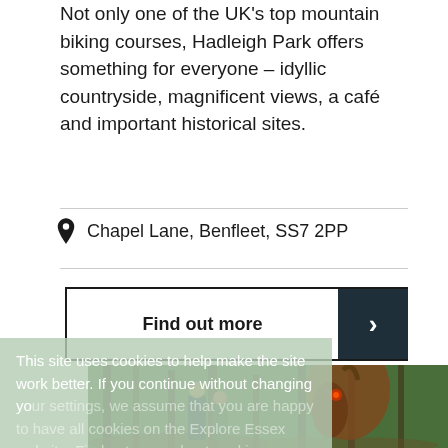Not only one of the UK's top mountain biking courses, Hadleigh Park offers something for everyone – idyllic countryside, magnificent views, a café and important historical sites.
Chapel Lane, Benfleet, SS7 2PP
Find out more
This site uses cookies to help make the site work better. If you continue without changing your settings, we assume that you are happy to have all cookies on the Explore Essex website. Find out more about cookies
[Figure (photo): A family (man, woman, and child) standing in a woodland forest looking at a large Gruffalo character costume/statue. The forest has green trees and brown leaf-covered ground.]